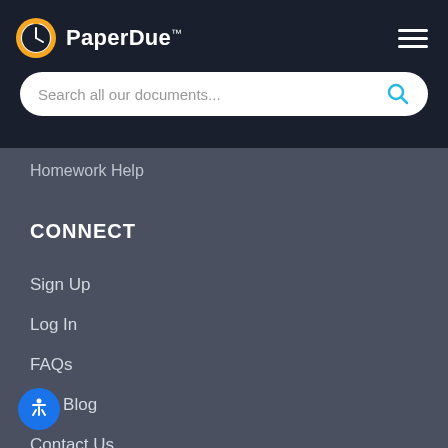[Figure (logo): PaperDue logo with clock icon in orange circle and PaperDue™ text in white]
Search all our documents...
Homework Help
CONNECT
Sign Up
Log In
FAQs
Our Blog
Contact Us
About Us